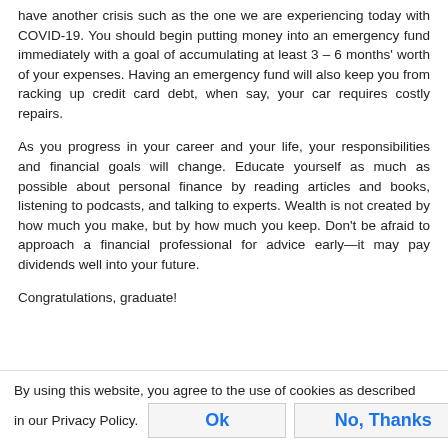have another crisis such as the one we are experiencing today with COVID-19. You should begin putting money into an emergency fund immediately with a goal of accumulating at least 3 – 6 months' worth of your expenses. Having an emergency fund will also keep you from racking up credit card debt, when say, your car requires costly repairs.
As you progress in your career and your life, your responsibilities and financial goals will change. Educate yourself as much as possible about personal finance by reading articles and books, listening to podcasts, and talking to experts. Wealth is not created by how much you make, but by how much you keep. Don't be afraid to approach a financial professional for advice early—it may pay dividends well into your future.
Congratulations, graduate!
By using this website, you agree to the use of cookies as described in our Privacy Policy.